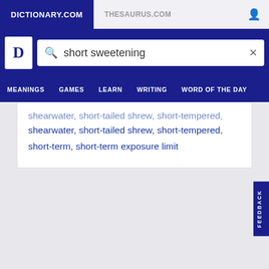DICTIONARY.COM  THESAURUS.COM
[Figure (screenshot): Dictionary.com logo with white D letter on blue background and search box containing 'short sweetening' with search and clear icons]
MEANINGS  GAMES  LEARN  WRITING  WORD OF THE DAY
shearwater, short-tailed shrew, short-tempered, short-term, short-term exposure limit
FEEDBACK